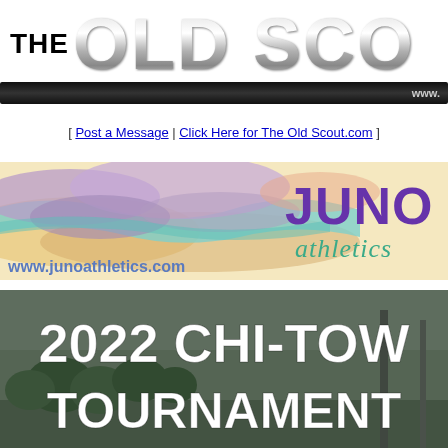THE OLD SCOUT www.
[ Post a Message | Click Here for The Old Scout.com ]
[Figure (logo): Juno Athletics banner advertisement with colorful abstract landscape design and purple 'JUNO athletics' logo. www.junoathletics.com]
[Figure (photo): 2022 Chi-Town Tournament promotional image showing outdoor sports facility with large white bold text overlay reading '2022 CHI-TOW' and 'TOURNAMENT' (cropped)]